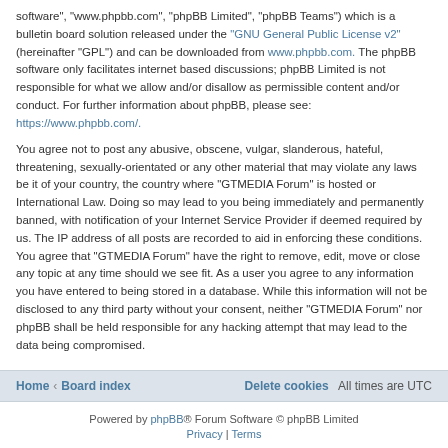software", "www.phpbb.com", "phpBB Limited", "phpBB Teams") which is a bulletin board solution released under the "GNU General Public License v2" (hereinafter "GPL") and can be downloaded from www.phpbb.com. The phpBB software only facilitates internet based discussions; phpBB Limited is not responsible for what we allow and/or disallow as permissible content and/or conduct. For further information about phpBB, please see: https://www.phpbb.com/.
You agree not to post any abusive, obscene, vulgar, slanderous, hateful, threatening, sexually-orientated or any other material that may violate any laws be it of your country, the country where “GTMEDIA Forum” is hosted or International Law. Doing so may lead to you being immediately and permanently banned, with notification of your Internet Service Provider if deemed required by us. The IP address of all posts are recorded to aid in enforcing these conditions. You agree that “GTMEDIA Forum” have the right to remove, edit, move or close any topic at any time should we see fit. As a user you agree to any information you have entered to being stored in a database. While this information will not be disclosed to any third party without your consent, neither “GTMEDIA Forum” nor phpBB shall be held responsible for any hacking attempt that may lead to the data being compromised.
Home ‹ Board index | Delete cookies | All times are UTC
Powered by phpBB® Forum Software © phpBB Limited | Privacy | Terms